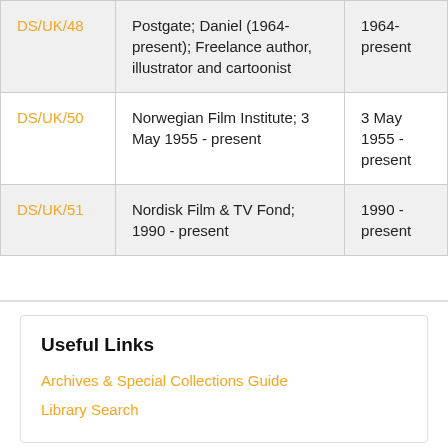| DS/UK/48 | Postgate; Daniel (1964-present); Freelance author, illustrator and cartoonist | 1964-present |
| DS/UK/50 | Norwegian Film Institute; 3 May 1955 - present | 3 May 1955 - present |
| DS/UK/51 | Nordisk Film & TV Fond; 1990 - present | 1990 - present |
Useful Links
Archives & Special Collections Guide
Library Search